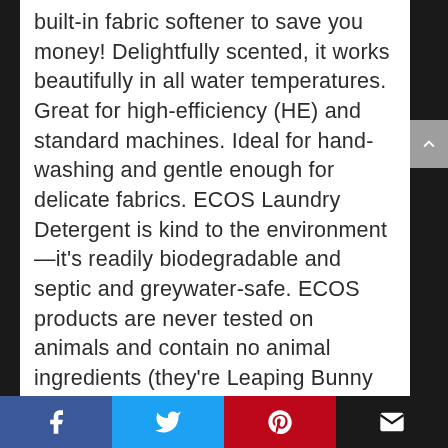built-in fabric softener to save you money! Delightfully scented, it works beautifully in all water temperatures. Great for high-efficiency (HE) and standard machines. Ideal for hand-washing and gentle enough for delicate fabrics. ECOS Laundry Detergent is kind to the environment—it's readily biodegradable and septic and greywater-safe. ECOS products are never tested on animals and contain no animal ingredients (they're Leaping Bunny certified!). * 2X ultra concentrated detergent is tough on dirt yet kind to clothes * Made in USA without dyes, optical brighteners, parabens, phosphates or phthalates * Dermatologist-tested
Facebook | Twitter | Pinterest | Email